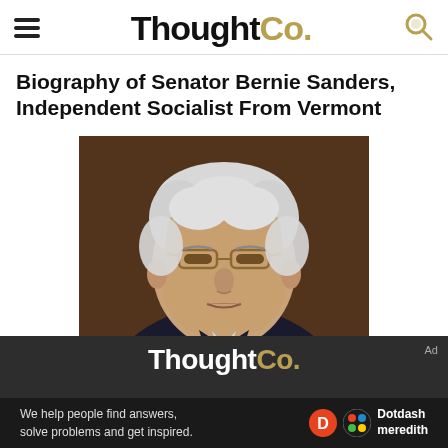ThoughtCo.
Biography of Senator Bernie Sanders, Independent Socialist From Vermont
[Figure (photo): Close-up photo of Bernie Sanders, an older white man with white hair and glasses, wearing a dark suit, looking serious]
[Figure (logo): ThoughtCo. logo in white text on dark background with 'Ad' label. Below: 'We help people find answers, solve problems and get inspired.' with Dotdash Meredith logo.]